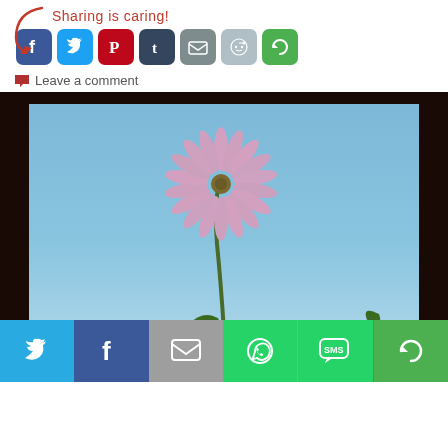[Figure (infographic): Sharing is caring! text with arrow and social media sharing buttons: Facebook, Twitter, Pinterest, Tumblr, Email, Reddit, and a rotation/share icon]
Leave a comment
[Figure (photo): A pink/purple daisy-like flower (cosmos) photographed from below against a clear blue sky, with green leaves visible at the bottom. Below the photo is a bottom sharing bar with Twitter, Facebook, Email, WhatsApp, SMS, and more icons.]